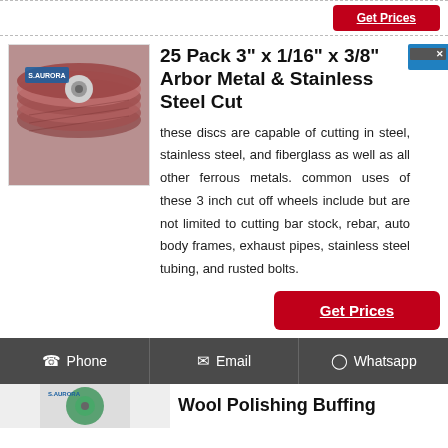[Figure (photo): Close-up photo of red/brown abrasive flap discs stacked showing the S.AURORA brand label]
25 Pack 3" x 1/16" x 3/8" Arbor Metal & Stainless Steel Cut
these discs are capable of cutting in steel, stainless steel, and fiberglass as well as all other ferrous metals. common uses of these 3 inch cut off wheels include but are not limited to cutting bar stock, rebar, auto body frames, exhaust pipes, stainless steel tubing, and rusted bolts.
Get Prices
Phone  Email  Whatsapp
[Figure (photo): Partial view of another product disc with S.AURORA branding]
Wool Polishing Buffing